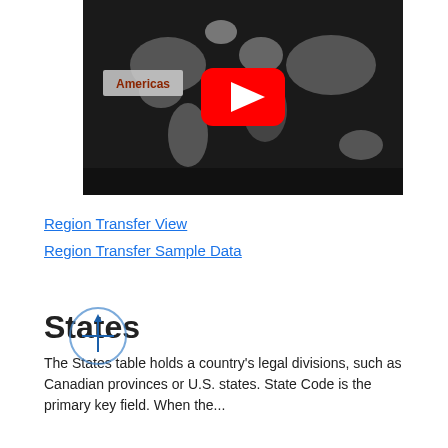[Figure (screenshot): YouTube video thumbnail showing a world map with countries highlighted in grayscale. Text 'Americas' visible in upper-left area with a red YouTube play button in the center.]
Region Transfer View
Region Transfer Sample Data
States
The States table holds a country's legal divisions, such as Canadian provinces or U.S. states. State Code is the primary key field. When the...